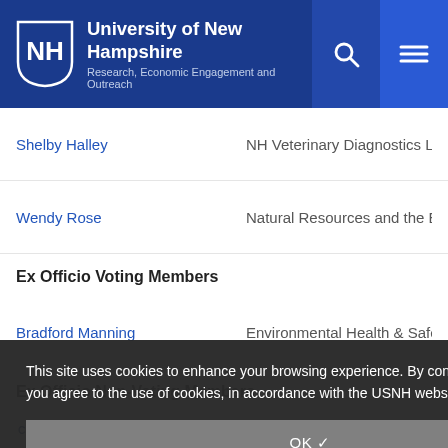University of New Hampshire — Research, Economic Engagement and Outreach
Shelby Halley — NH Veterinary Diagnostics Lab
Wendy Rose — Natural Resources and the Environment
Ex Officio Voting Members
Bradford Manning — Environmental Health & Safety
Ex Officio Non-Voting Members
K... — [Research] Programs Administrator
M... — Environmental Health & Safety
This site uses cookies to enhance your browsing experience. By continuing to use this site, you agree to the use of cookies, in accordance with the USNH website Privacy Policy.
OK ✓
CHEMICAL SAFETY COMMITTEE CHARTER >